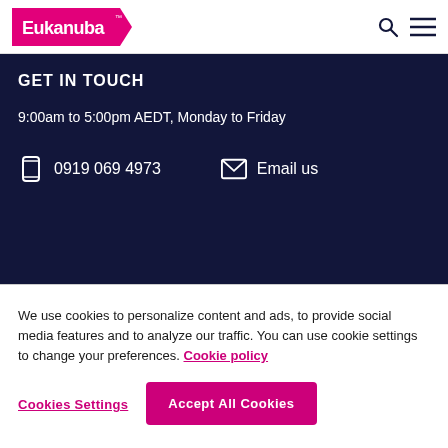Eukanuba
GET IN TOUCH
9:00am to 5:00pm AEDT, Monday to Friday
0919 069 4973
Email us
We use cookies to personalize content and ads, to provide social media features and to analyze our traffic. You can use cookie settings to change your preferences. Cookie policy
Cookies Settings
Accept All Cookies